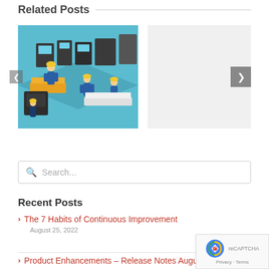Related Posts
[Figure (illustration): Isometric illustration of workers in a manufacturing/industrial facility with equipment and workstations, teal and yellow color scheme]
[Figure (other): Light gray placeholder image box with a right navigation arrow button on the right side]
Search...
Recent Posts
The 7 Habits of Continuous Improvement
August 25, 2022
Product Enhancements – Release Notes August